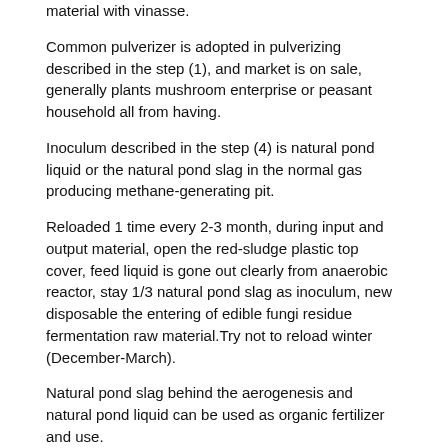material with vinasse.
Common pulverizer is adopted in pulverizing described in the step (1), and market is on sale, generally plants mushroom enterprise or peasant household all from having.
Inoculum described in the step (4) is natural pond liquid or the natural pond slag in the normal gas producing methane-generating pit.
Reloaded 1 time every 2-3 month, during input and output material, open the red-sludge plastic top cover, feed liquid is gone out clearly from anaerobic reactor, stay 1/3 natural pond slag as inoculum, new disposable the entering of edible fungi residue fermentation raw material.Try not to reload winter (December-March).
Natural pond slag behind the aerogenesis and natural pond liquid can be used as organic fertilizer and use.
A kind for the treatment of unit of edible fungi residue recycling, comprise anaerobic reaction apparatus, biogas dehydration devulcanizer, accumulator unit and biogas utilization device, it is characterized in that described